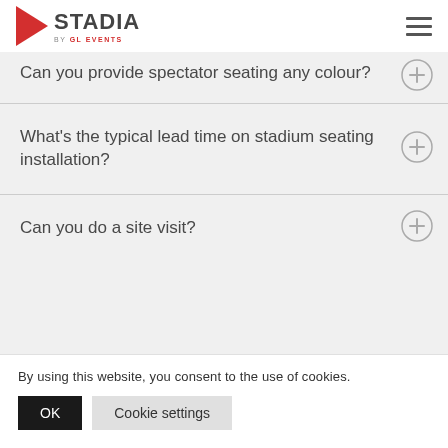STADIA BY GL EVENTS
Can you provide spectator seating any colour?
What's the typical lead time on stadium seating installation?
Can you do a site visit?
By using this website, you consent to the use of cookies.
OK
Cookie settings